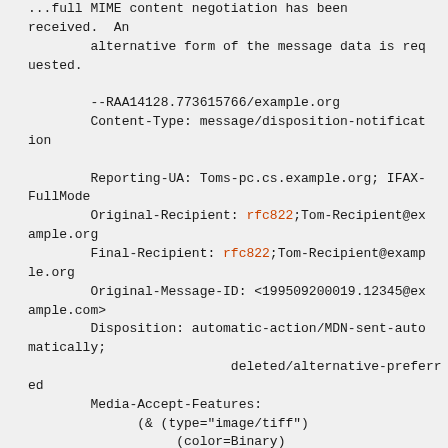...full MIME content negotiation has been received.  An alternative form of the message data is requested.

        --RAA14128.773615766/example.org
        Content-Type: message/disposition-notification

        Reporting-UA: Toms-pc.cs.example.org; IFAX-FullMode
        Original-Recipient: rfc822;Tom-Recipient@example.org
        Final-Recipient: rfc822;Tom-Recipient@example.org
        Original-Message-ID: <199509200019.12345@example.com>
        Disposition: automatic-action/MDN-sent-automatically;
                          deleted/alternative-preferred
        Media-Accept-Features:
              (& (type="image/tiff")
                   (color=Binary)